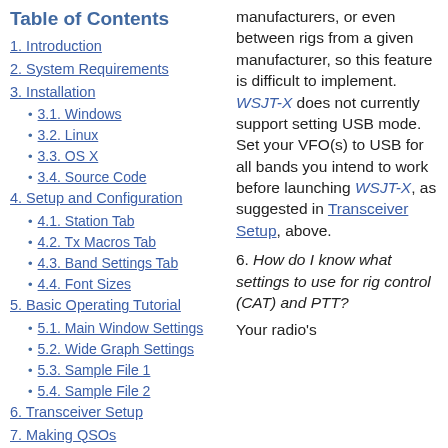Table of Contents
1. Introduction
2. System Requirements
3. Installation
3.1. Windows
3.2. Linux
3.3. OS X
3.4. Source Code
4. Setup and Configuration
4.1. Station Tab
4.2. Tx Macros Tab
4.3. Band Settings Tab
4.4. Font Sizes
5. Basic Operating Tutorial
5.1. Main Window Settings
5.2. Wide Graph Settings
5.3. Sample File 1
5.4. Sample File 2
6. Transceiver Setup
7. Making QSOs
manufacturers, or even between rigs from a given manufacturer, so this feature is difficult to implement. WSJT-X does not currently support setting USB mode. Set your VFO(s) to USB for all bands you intend to work before launching WSJT-X, as suggested in Transceiver Setup, above.
6. How do I know what settings to use for rig control (CAT) and PTT?
Your radio's